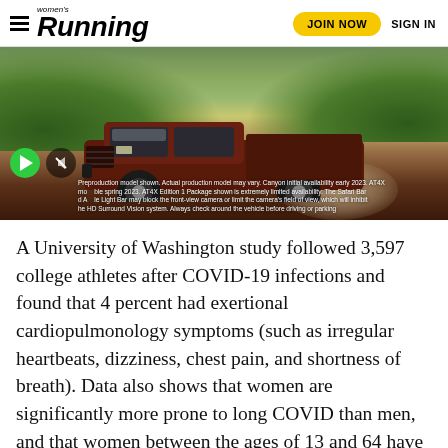women's Running — JOIN NOW   SIGN IN
[Figure (photo): Advertisement photo of a dark red GMC Canyon AT4X pickup truck driving on a dirt road with green hills in the background. Overlay text: Preproduction model shown. Actual production model may vary. Canyon initial availability early 2023. AT4X model available spring 2023. AT4X Edition 1 Package shown is extremely limited availability. The Safari Bar and Grille Light Bar may block the front-view camera or limit the camera's field of view, which will inhibit the HD Surround Vision system. Always check around the vehicle before driving or parking.]
A University of Washington study followed 3,597 college athletes after COVID-19 infections and found that 4 percent had exertional cardiopulmonology symptoms (such as irregular heartbeats, dizziness, chest pain, and shortness of breath). Data also shows that women are significantly more prone to long COVID than men, and that women between the ages of 13 and 64 have higher probabilities of developing it than those 65 and older.